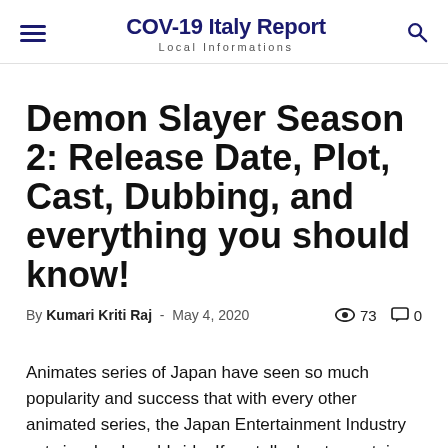COV-19 Italy Report
Local Informations
Demon Slayer Season 2: Release Date, Plot, Cast, Dubbing, and everything you should know!
By Kumari Kriti Raj - May 4, 2020  👁 73  💬 0
Animates series of Japan have seen so much popularity and success that with every other animated series, the Japan Entertainment Industry gets involved worldwide. If we talk about a certain series that become popular, then it will be